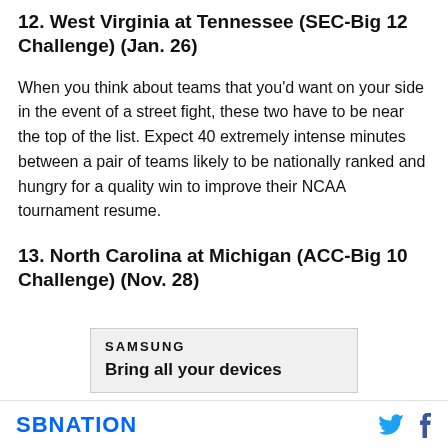12. West Virginia at Tennessee (SEC-Big 12 Challenge) (Jan. 26)
When you think about teams that you'd want on your side in the event of a street fight, these two have to be near the top of the list. Expect 40 extremely intense minutes between a pair of teams likely to be nationally ranked and hungry for a quality win to improve their NCAA tournament resume.
13. North Carolina at Michigan (ACC-Big 10 Challenge) (Nov. 28)
[Figure (other): Samsung advertisement: 'SAMSUNG — Bring all your devices']
SBNATION [Twitter icon] [Facebook icon]